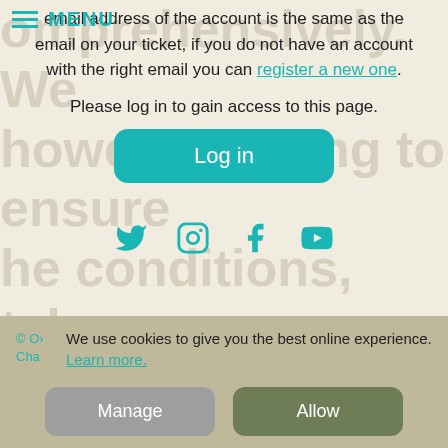MENU
email address of the account is the same as the email on your ticket, if you do not have an account with the right email you can register a new one.
Please log in to gain access to this page.
Log in
[Figure (other): Social media icons: Twitter, Instagram, Facebook, YouTube]
© O... Cha... We use cookies to give you the best online experience. Learn more. [Manage] [Allow]